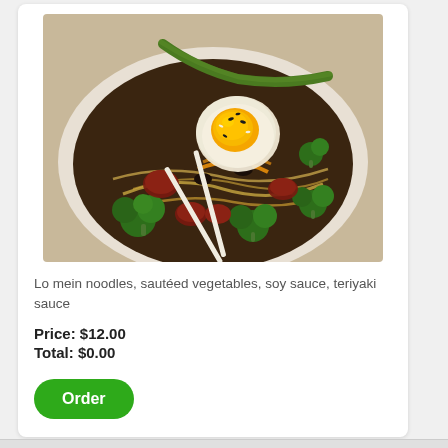[Figure (photo): A bowl of lo mein noodles with sautéed vegetables, broccoli, meat, chopsticks, and a fried egg on top with sesame seeds]
Lo mein noodles, sautéed vegetables, soy sauce, teriyaki sauce
Price: $12.00
Total: $0.00
Order